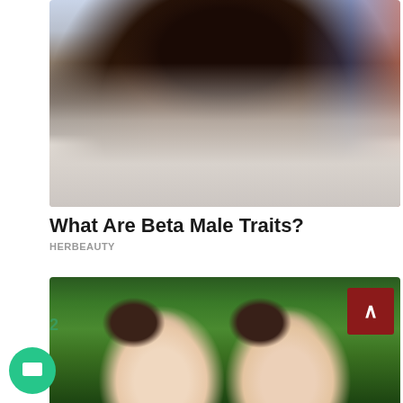[Figure (photo): A digitally manipulated photo of a chimpanzee with a human-like body wearing a white tank top and a silver chain necklace, standing in an urban outdoor setting with colorful graffiti in the background.]
What Are Beta Male Traits?
HERBEAUTY
[Figure (photo): A photo of two young girls with light eyes and dark hair styled in buns, smiling at the camera in a lush green garden setting.]